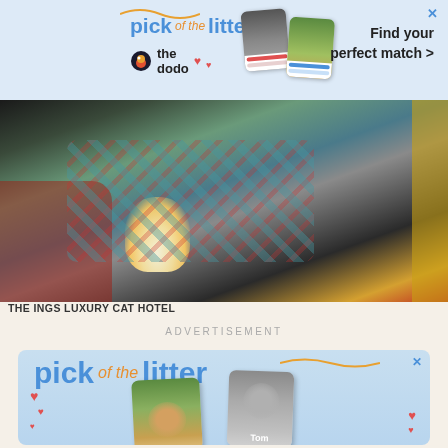[Figure (screenshot): Top advertisement banner for 'pick of the litter' by The Dodo, with pet photos and 'Find your perfect match >' text on light blue background]
[Figure (photo): Overhead photo of a cat lying on colorful plaid blankets with a glowing candle nearby, at The Ings Luxury Cat Hotel]
THE INGS LUXURY CAT HOTEL
ADVERTISEMENT
[Figure (screenshot): Bottom advertisement for 'pick of the litter' by The Dodo, showing a corgi and a cat labeled 'Tom' on a light blue background with decorative hearts]